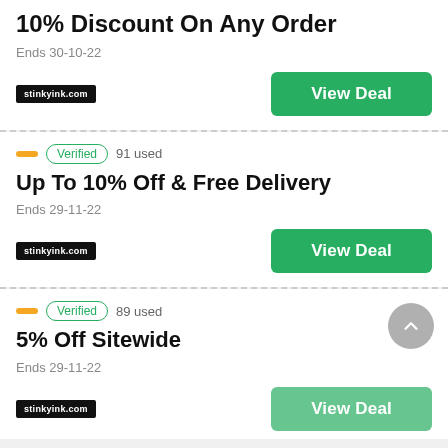10% Discount On Any Order
Ends 30-10-22
stinkyink.com | View Deal
Verified  91 used
Up To 10% Off & Free Delivery
Ends 29-11-22
stinkyink.com | View Deal
Verified  89 used
5% Off Sitewide
Ends 29-11-22